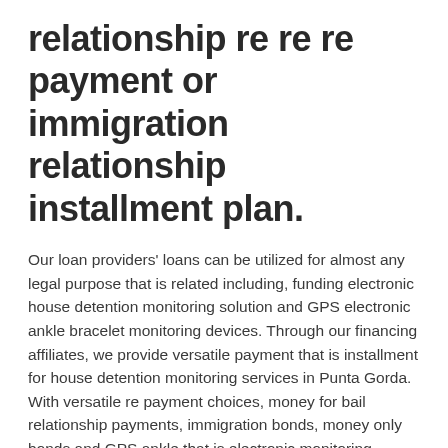relationship re re re payment or immigration relationship installment plan.
Our loan providers' loans can be utilized for almost any legal purpose that is related including, funding electronic house detention monitoring solution and GPS electronic ankle bracelet monitoring devices. Through our financing affiliates, we provide versatile payment that is installment for house detention monitoring services in Punta Gorda. With versatile re payment choices, money for bail relationship payments, immigration bonds, money only bonds and GPS ankle that is electronic monitoring services are actually available. Payment options consist of bank card, debit card, certified check, personal check or ACH bank withdrawal.
Individuals count on our bail